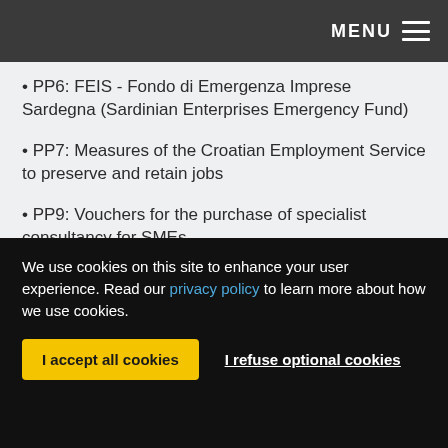MENU
PP6: FEIS - Fondo di Emergenza Imprese Sardegna (Sardinian Enterprises Emergency Fund)
PP7: Measures of the Croatian Employment Service to preserve and retain jobs
PP9: Vouchers for the purchase of specialist consultancy for SMEs
We use cookies on this site to enhance your user experience. Read our privacy policy to learn more about how we use cookies.
I accept all cookies | I refuse optional cookies